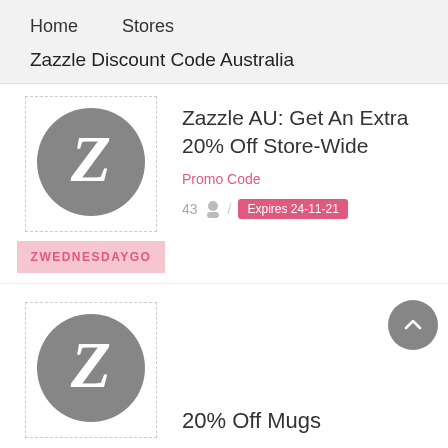Home    Stores
Zazzle Discount Code Australia
[Figure (logo): Zazzle logo: grey circle with white stylized Z letter]
Zazzle AU: Get An Extra 20% Off Store-Wide
Promo Code
43 / Expires 24-11-21
ZWEDNESDAYGO
[Figure (logo): Zazzle logo: grey circle with white stylized Z letter]
20% Off Mugs